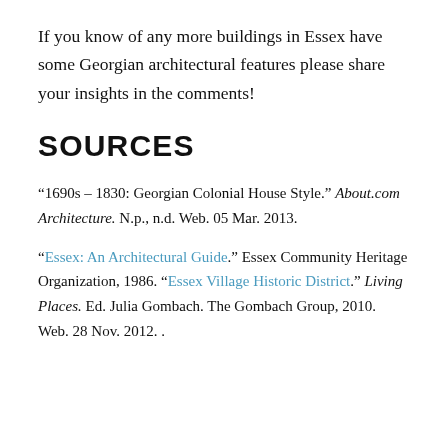If you know of any more buildings in Essex have some Georgian architectural features please share your insights in the comments!
SOURCES
“1690s – 1830: Georgian Colonial House Style.” About.com Architecture. N.p., n.d. Web. 05 Mar. 2013.
“Essex: An Architectural Guide.” Essex Community Heritage Organization, 1986. “Essex Village Historic District.” Living Places. Ed. Julia Gombach. The Gombach Group, 2010. Web. 28 Nov. 2012. .